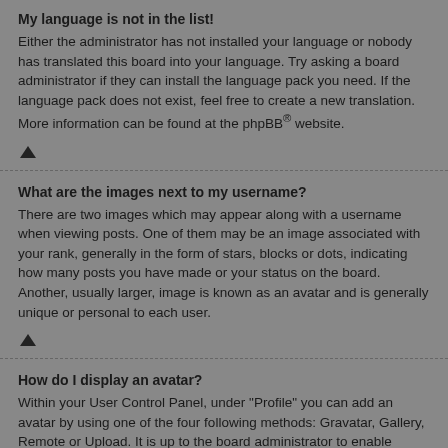My language is not in the list!
Either the administrator has not installed your language or nobody has translated this board into your language. Try asking a board administrator if they can install the language pack you need. If the language pack does not exist, feel free to create a new translation. More information can be found at the phpBB® website.
[Figure (other): Arrow up icon (back to top link)]
What are the images next to my username?
There are two images which may appear along with a username when viewing posts. One of them may be an image associated with your rank, generally in the form of stars, blocks or dots, indicating how many posts you have made or your status on the board. Another, usually larger, image is known as an avatar and is generally unique or personal to each user.
[Figure (other): Arrow up icon (back to top link)]
How do I display an avatar?
Within your User Control Panel, under "Profile" you can add an avatar by using one of the four following methods: Gravatar, Gallery, Remote or Upload. It is up to the board administrator to enable avatars and to choose the way in which avatars can be made available. If you are unable to use avatars, contact a board administrator.
[Figure (other): Arrow up icon (back to top link)]